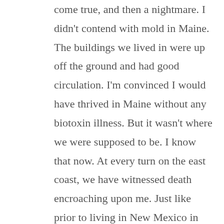come true, and then a nightmare. I didn't contend with mold in Maine. The buildings we lived in were up off the ground and had good circulation. I'm convinced I would have thrived in Maine without any biotoxin illness. But it wasn't where we were supposed to be. I know that now. At every turn on the east coast, we have witnessed death encroaching upon me. Just like prior to living in New Mexico in 2008. Death in many forms can teach me about the life I can live fully if I return to the place that God had chosen for us. That is